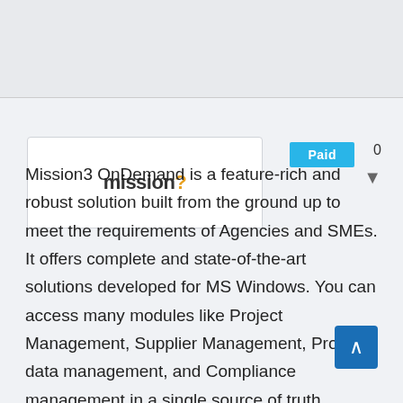[Figure (screenshot): Mission3 logo with orange question mark, inside a white card/tab element. A chevron-up icon is to the left. A blue 'Paid' button label and the number 0 are at the top right, with a down arrow beneath.]
Mission3 OnDemand is a feature-rich and robust solution built from the ground up to meet the requirements of Agencies and SMEs. It offers complete and state-of-the-art solutions developed for MS Windows. You can access many modules like Project Management, Supplier Management, Product data management, and Compliance management in a single source of truth.